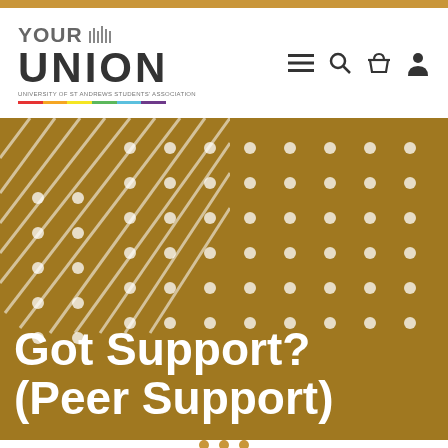[Figure (logo): YOUR UNION - University of St Andrews Students' Association logo with city skyline icon]
[Figure (illustration): Navigation icons: hamburger menu, search, basket, user profile]
[Figure (illustration): Gold/dark yellow hero banner with diagonal line pattern and white dot grid pattern in background]
Got Support? (Peer Support)